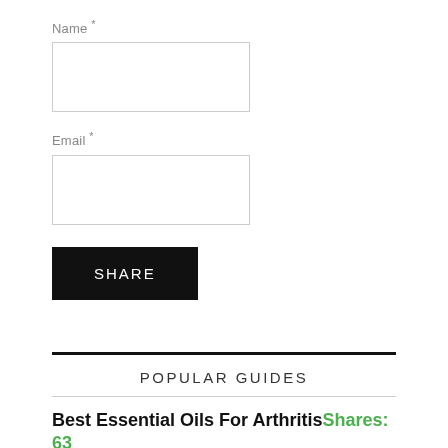Name *
[Figure (other): Empty text input box for Name field]
Email *
[Figure (other): Empty text input box for Email field]
SHARE
POPULAR GUIDES
Best Essential Oils For ArthritisShares: 63